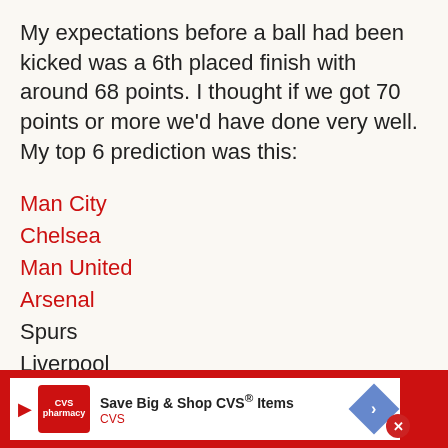My expectations before a ball had been kicked was a 6th placed finish with around 68 points. I thought if we got 70 points or more we'd have done very well. My top 6 prediction was this:
Man City
Chelsea
Man United
Arsenal
Spurs
Liverpool
I did think we had a chance to get a top 4 spot
[Figure (screenshot): CVS pharmacy advertisement banner: Save Big & Shop CVS® Items]